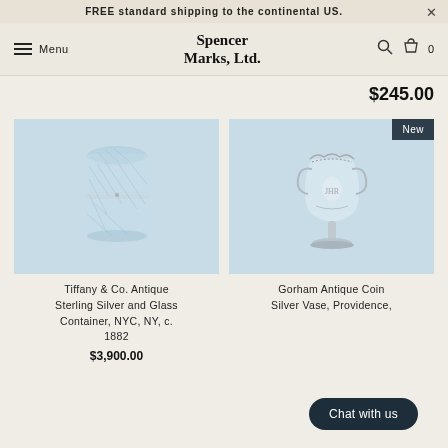FREE standard shipping to the continental US.
Spencer Marks, Ltd.
$245.00
[Figure (photo): Tiffany & Co. Antique Sterling Silver and Glass Container, round lidded jar with textured glass body and silver collar, light blue background]
Tiffany & Co. Antique Sterling Silver and Glass Container, NYC, NY, c. 1882
$3,900.00
[Figure (photo): Gorham Antique Coin Silver Vase, Providence, elegant trophy-style vase with handles on pedestal base, light blue background, 'New' badge]
Gorham Antique Coin Silver Vase, Providence,
Chat with us